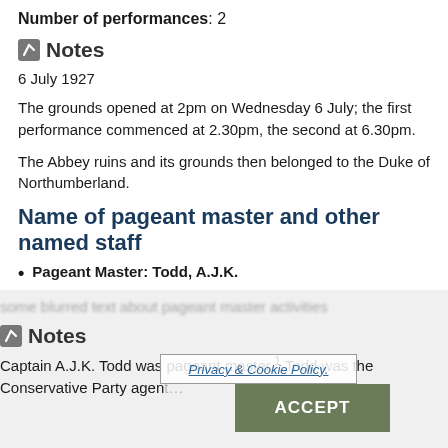Number of performances: 2
Notes
6 July 1927
The grounds opened at 2pm on Wednesday 6 July; the first performance commenced at 2.30pm, the second at 6.30pm.
The Abbey ruins and its grounds then belonged to the Duke of Northumberland.
Name of pageant master and other named staff
Pageant Master: Todd, A.J.K.
Notes
Captain A.J.K. Todd was pageant master.¹ Todd was the Conservative Party agent
Names of executive committee or equivalent